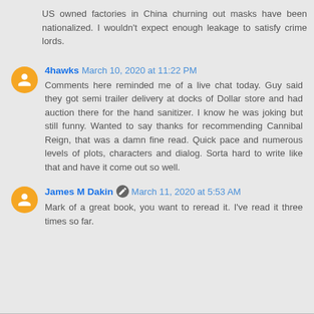US owned factories in China churning out masks have been nationalized. I wouldn't expect enough leakage to satisfy crime lords.
4hawks  March 10, 2020 at 11:22 PM
Comments here reminded me of a live chat today. Guy said they got semi trailer delivery at docks of Dollar store and had auction there for the hand sanitizer. I know he was joking but still funny. Wanted to say thanks for recommending Cannibal Reign, that was a damn fine read. Quick pace and numerous levels of plots, characters and dialog. Sorta hard to write like that and have it come out so well.
James M Dakin  March 11, 2020 at 5:53 AM
Mark of a great book, you want to reread it. I've read it three times so far.